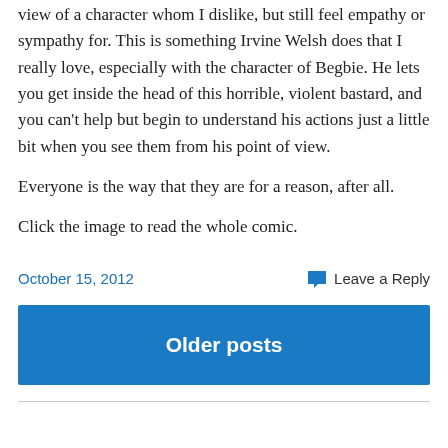view of a character whom I dislike, but still feel empathy or sympathy for. This is something Irvine Welsh does that I really love, especially with the character of Begbie. He lets you get inside the head of this horrible, violent bastard, and you can't help but begin to understand his actions just a little bit when you see them from his point of view.
Everyone is the way that they are for a reason, after all.
Click the image to read the whole comic.
October 15, 2012
Leave a Reply
Older posts